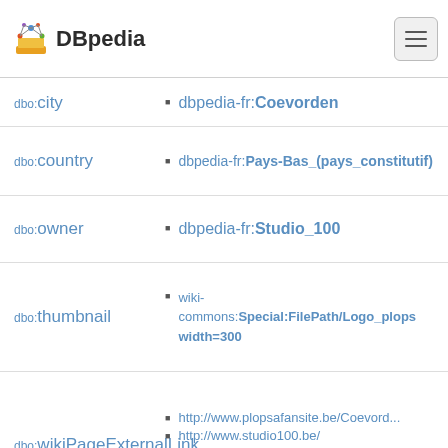DBpedia
| Property | Value |
| --- | --- |
| dbo:city | dbpedia-fr:Coevorden |
| dbo:country | dbpedia-fr:Pays-Bas_(pays_constitutif) |
| dbo:owner | dbpedia-fr:Studio_100 |
| dbo:thumbnail | wiki-commons:Special:FilePath/Logo_plops... width=300 |
| dbo:wikiPageExternalLink | http://www.plopsafansite.be/Coevord...
http://www.studio100.be/
http://www.plopsa.be/
http://www.plopsa.be/plopsaindoorco... |
| dbo:wikiPageID | 4542339 (xsd:integer) |
| dbo:wikiPageLength | 3820 (xsd:NonNegativeInteger) |